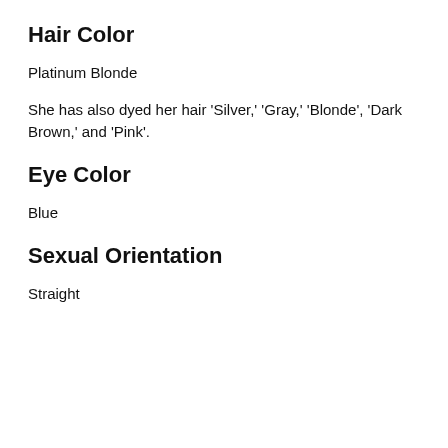Hair Color
Platinum Blonde
She has also dyed her hair 'Silver,' 'Gray,' 'Blonde', 'Dark Brown,' and 'Pink'.
Eye Color
Blue
Sexual Orientation
Straight